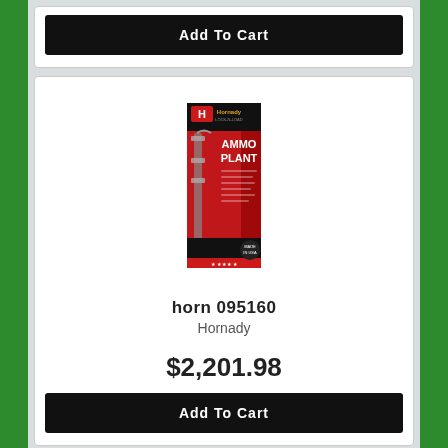Add To Cart
[Figure (photo): Hornady Ammo Plant product box with reloading press equipment shown on packaging, red and black design with Hornady logo]
horn 095160
Hornady
$2,201.98
Add To Cart